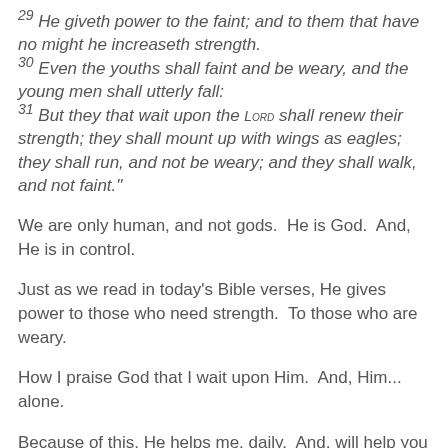29 He giveth power to the faint; and to them that have no might he increaseth strength. 30 Even the youths shall faint and be weary, and the young men shall utterly fall: 31 But they that wait upon the LORD shall renew their strength; they shall mount up with wings as eagles; they shall run, and not be weary; and they shall walk, and not faint."
We are only human, and not gods.  He is God.  And, He is in control.
Just as we read in today's Bible verses, He gives power to those who need strength.  To those who are weary.
How I praise God that I wait upon Him.  And, Him... alone.
Because of this, He helps me, daily.  And, will help you daily, too... if you belong to Him.
How does this happen?